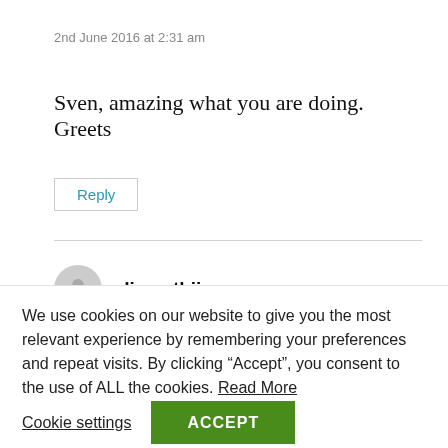2nd June 2016 at 2:31 am
Sven, amazing what you are doing. Greets
Reply
diana thijs
2nd June 2016 at 6:29 pm
We use cookies on our website to give you the most relevant experience by remembering your preferences and repeat visits. By clicking “Accept”, you consent to the use of ALL the cookies. Read More
Cookie settings
ACCEPT